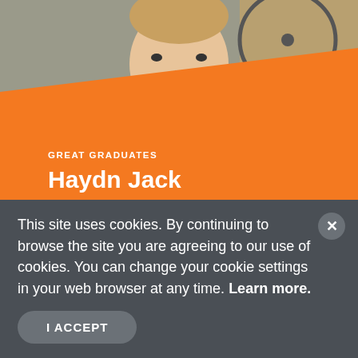[Figure (photo): Photo of a young bearded man smiling, shown from roughly chest up, with an industrial/workshop background. An orange diagonal panel overlays the lower portion of the photo.]
GREAT GRADUATES
Haydn Jack
Industrial Designer, Fi Innovations, Invercargill
Bachelor of Design
He loves the variety his career offers, says AUT
This site uses cookies. By continuing to browse the site you are agreeing to our use of cookies. You can change your cookie settings in your web browser at any time. Learn more.
I ACCEPT